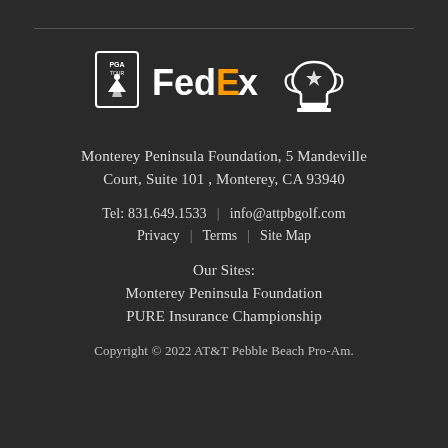[Figure (logo): PGA Tour FedEx Cup logo in white on dark background]
Monterey Peninsula Foundation, 5 Mandeville Court, Suite 101 , Monterey, CA 93940
Tel: 831.649.1533 | info@attpbgolf.com
Privacy | Terms | Site Map
Our Sites:
Monterey Peninsula Foundation
PURE Insurance Championship
Copyright © 2022 AT&T Pebble Beach Pro-Am.